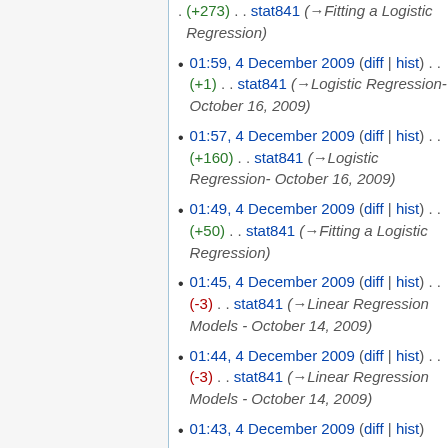. (+273) . . stat841 (→Fitting a Logistic Regression)
01:59, 4 December 2009 (diff | hist) . . (+1) . . stat841 (→Logistic Regression- October 16, 2009)
01:57, 4 December 2009 (diff | hist) . . (+160) . . stat841 (→Logistic Regression- October 16, 2009)
01:49, 4 December 2009 (diff | hist) . . (+50) . . stat841 (→Fitting a Logistic Regression)
01:45, 4 December 2009 (diff | hist) . . (-3) . . stat841 (→Linear Regression Models - October 14, 2009)
01:44, 4 December 2009 (diff | hist) . . (-3) . . stat841 (→Linear Regression Models - October 14, 2009)
01:43, 4 December 2009 (diff | hist)